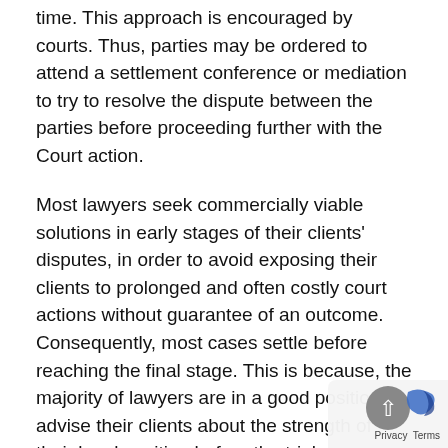time. This approach is encouraged by courts. Thus, parties may be ordered to attend a settlement conference or mediation to try to resolve the dispute between the parties before proceeding further with the Court action.
Most lawyers seek commercially viable solutions in early stages of their clients' disputes, in order to avoid exposing their clients to prolonged and often costly court actions without guarantee of an outcome. Consequently, most cases settle before reaching the final stage. This is because, the majority of lawyers are in a good position to advise their clients about the strength of their legal position before the trial.
Mediation